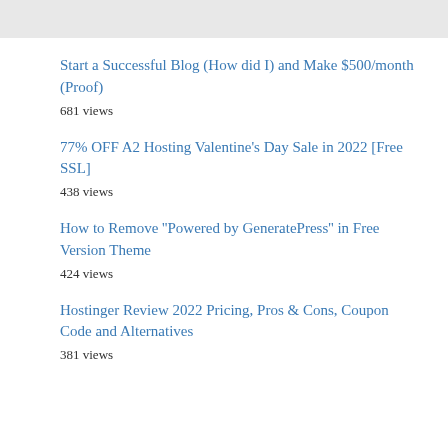Start a Successful Blog (How did I) and Make $500/month (Proof)
681 views
77% OFF A2 Hosting Valentine's Day Sale in 2022 [Free SSL]
438 views
How to Remove ''Powered by GeneratePress'' in Free Version Theme
424 views
Hostinger Review 2022 Pricing, Pros & Cons, Coupon Code and Alternatives
381 views